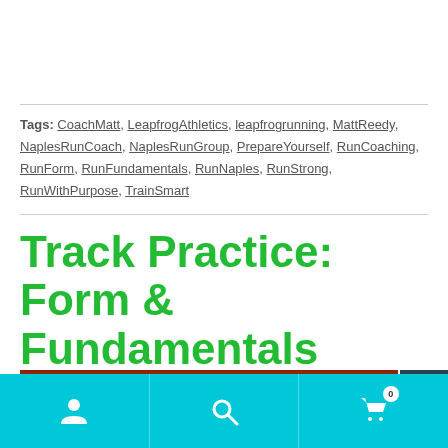Tags: CoachMatt, LeapfrogAthletics, leapfrogrunning, MattReedy, NaplesRunCoach, NaplesRunGroup, PrepareYourself, RunCoaching, RunForm, RunFundamentals, RunNaples, RunStrong, RunWithPurpose, TrainSmart
Track Practice: Form & Fundamentals
[Figure (photo): Partial view of a red running track with white lane lines and green grass visible at the bottom edge]